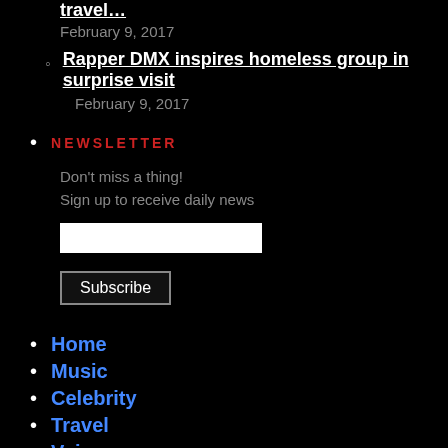travel…
February 9, 2017
Rapper DMX inspires homeless group in surprise visit
February 9, 2017
NEWSLETTER
Don't miss a thing!
Sign up to receive daily news
Home
Music
Celebrity
Travel
Voices
News